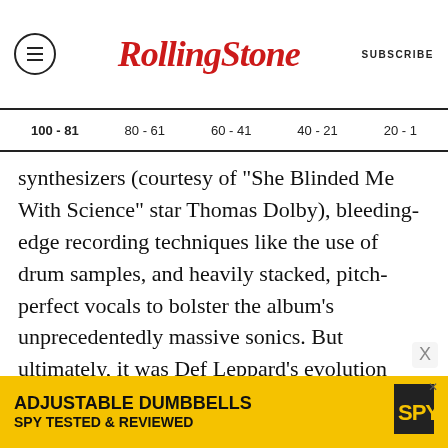RollingStone | SUBSCRIBE
100 - 81  80 - 61  60 - 41  40 - 21  20 - 1
synthesizers (courtesy of "She Blinded Me With Science" star Thomas Dolby), bleeding-edge recording techniques like the use of drum samples, and heavily stacked, pitch-perfect vocals to bolster the album’s unprecedentedly massive sonics. But ultimately, it was Def Leppard’s evolution from a rough-around-the-edges hard-rock band into a unit capable of seamlessly melding heavy riffs with anthemic, mainstream-friendly melodies that pushed Pyromania into the sales stratosphere. The
[Figure (other): Advertisement banner for Adjustable Dumbbells by SPY - yellow background with text ADJUSTABLE DUMBBELLS SPY TESTED & REVIEWED]